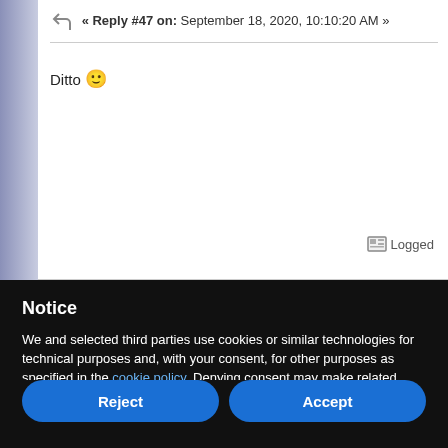« Reply #47 on: September 18, 2020, 10:10:20 AM »
Ditto 🙂
Logged
Notice
We and selected third parties use cookies or similar technologies for technical purposes and, with your consent, for other purposes as specified in the cookie policy. Denying consent may make related features unavailable.
Use the â€œAcceptâ€ button to consent to the use of such technologies. Use the â€œRejectâ€ button to continue without accepting.
Reject
Accept
Learn more and customize